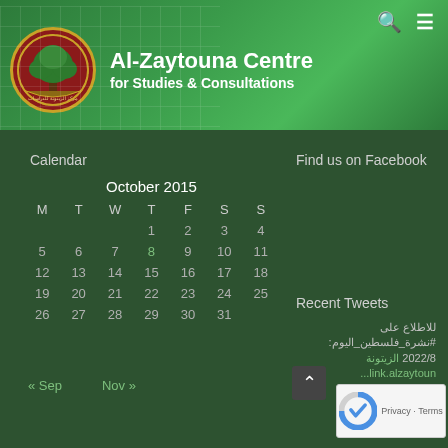[Figure (logo): Al-Zaytouna Centre for Studies & Consultations website header with green background, grid overlay, circular logo with tree, organization name in white text, search and menu icons]
Al-Zaytouna Centre
for Studies & Consultations
Calendar
| M | T | W | T | F | S | S |
| --- | --- | --- | --- | --- | --- | --- |
|  |  |  | 1 | 2 | 3 | 4 |
| 5 | 6 | 7 | 8 | 9 | 10 | 11 |
| 12 | 13 | 14 | 15 | 16 | 17 | 18 |
| 19 | 20 | 21 | 22 | 23 | 24 | 25 |
| 26 | 27 | 28 | 29 | 30 | 31 |  |
« Sep   Nov »
Find us on Facebook
Recent Tweets
للاطلاع على #نشرة_فلسطين_اليوم: 2022/8 الزيتونة link.alzaytouna...